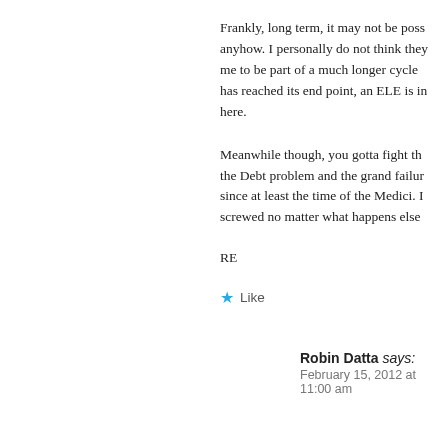Frankly, long term, it may not be possible anyhow. I personally do not think they me to be part of a much longer cycle has reached its end point, an ELE is in here.
Meanwhile though, you gotta fight the the Debt problem and the grand failure since at least the time of the Medici. screwed no matter what happens else
RE
Like
Robin Datta says: February 15, 2012 at 11:00 am